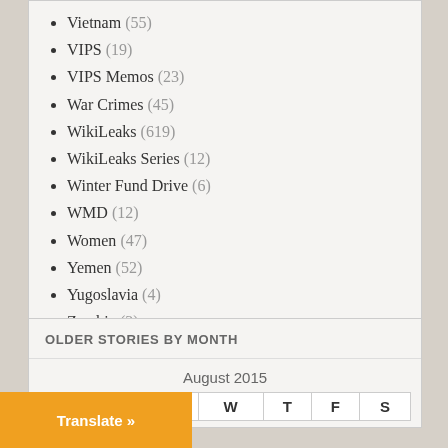Vietnam (55)
VIPS (19)
VIPS Memos (23)
War Crimes (45)
WikiLeaks (619)
WikiLeaks Series (12)
Winter Fund Drive (6)
WMD (12)
Women (47)
Yemen (52)
Yugoslavia (4)
Zambia (3)
OLDER STORIES BY MONTH
| S | M | T | W | T | F | S |
| --- | --- | --- | --- | --- | --- | --- |